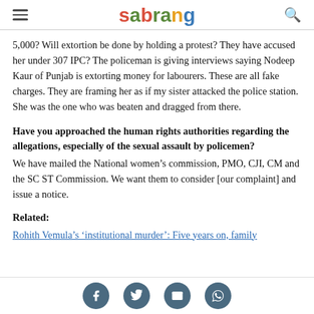sabrang
5,000? Will extortion be done by holding a protest? They have accused her under 307 IPC? The policeman is giving interviews saying Nodeep Kaur of Punjab is extorting money for labourers. These are all fake charges. They are framing her as if my sister attacked the police station. She was the one who was beaten and dragged from there.
Have you approached the human rights authorities regarding the allegations, especially of the sexual assault by policemen?
We have mailed the National women’s commission, PMO, CJI, CM and the SC ST Commission. We want them to consider [our complaint] and issue a notice.
Related:
Rohith Vemula’s ‘institutional murder’: Five years on, family
Social share buttons: Facebook, Twitter, Email, WhatsApp